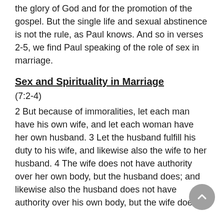the glory of God and for the promotion of the gospel. But the single life and sexual abstinence is not the rule, as Paul knows. And so in verses 2-5, we find Paul speaking of the role of sex in marriage.
Sex and Spirituality in Marriage
(7:2-4)
2 But because of immoralities, let each man have his own wife, and let each woman have her own husband. 3 Let the husband fulfill his duty to his wife, and likewise also the wife to her husband. 4 The wife does not have authority over her own body, but the husband does; and likewise also the husband does not have authority over his own body, but the wife does. 5